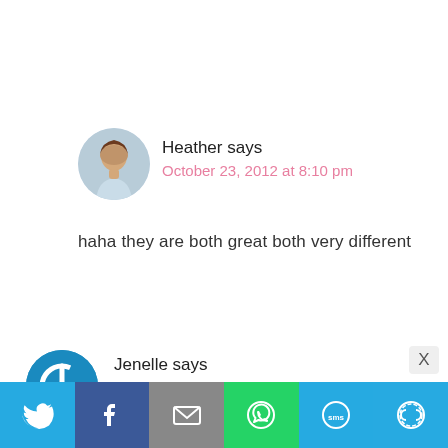Heather says
October 23, 2012 at 8:10 pm
haha they are both great both very different
Jenelle says
October 23, 2012 at 10:43 am
interesting, thanks for sharing!
[Figure (other): Share bar with Twitter, Facebook, Email, WhatsApp, SMS, and More buttons]